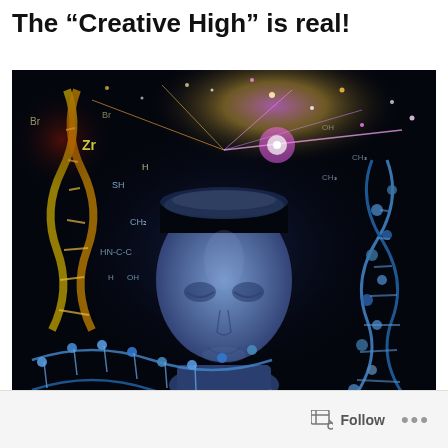The “Creative High” is real!
[Figure (illustration): Digital artwork of a blue humanoid face with its head open at the top, surrounded by scientific elements: DNA double helix structures, chemical formulas, periodic table elements (Br, Zr, H, CH2, HN-C-C), and glowing particles/light bursting from the open head against a dark background.]
Follow •••